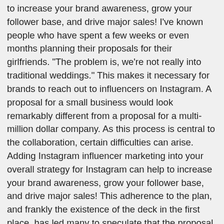to increase your brand awareness, grow your follower base, and drive major sales! I've known people who have spent a few weeks or even months planning their proposals for their girlfriends. "The problem is, we're not really into traditional weddings." This makes it necessary for brands to reach out to influencers on Instagram. A proposal for a small business would look remarkably different from a proposal for a multi-million dollar company. As this process is central to the collaboration, certain difficulties can arise. Adding Instagram influencer marketing into your overall strategy for Instagram can help to increase your brand awareness, grow your follower base, and drive major sales! This adherence to the plan, and frankly the existence of the deck in the first place, has led many to speculate that the proposal isn't as much of a surprise as the couple is trying to make it seem. On Tuesday, she posted a “surprise” video her boyfriend sent her saying that she’s about to go on “an extraordinary adventure” and he has “the most important question” to ask her. Bloglovin talked to 2,500 micro-influencers and found that Instagram is their most preferred platform . 3:40. Instagram influencer Marissa Casey Fuchs’s boyfriend, Gabriel Grossman, staged the most extravagant proposal for her. Gabriel